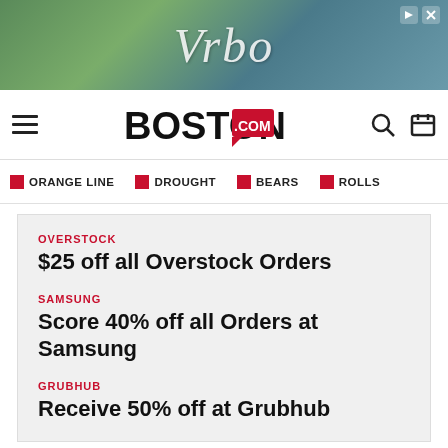[Figure (photo): Vrbo advertisement banner with tropical background and Vrbo logo text]
Boston.com navigation bar with hamburger menu, Boston.com logo, search and calendar icons
ORANGE LINE  DROUGHT  BEARS  ROLLS
OVERSTOCK
$25 off all Overstock Orders
SAMSUNG
Score 40% off all Orders at Samsung
GRUBHUB
Receive 50% off at Grubhub